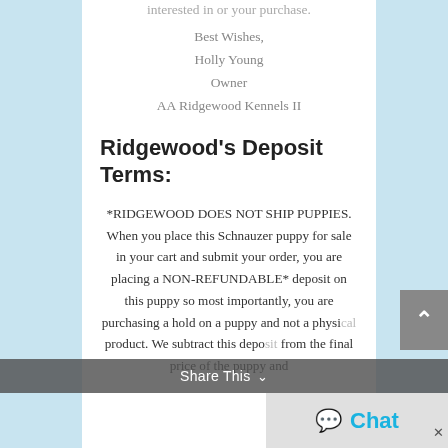interested in or your purchase.
Best Wishes,
Holly Young
Owner
AA Ridgewood Kennels II
Ridgewood's Deposit Terms:
*RIDGEWOOD DOES NOT SHIP PUPPIES. When you place this Schnauzer puppy for sale in your cart and submit your order, you are placing a NON-REFUNDABLE* deposit on this puppy so most importantly, you are purchasing a hold on a puppy and not a physical product. We subtract this deposit from the final price of the puppy and